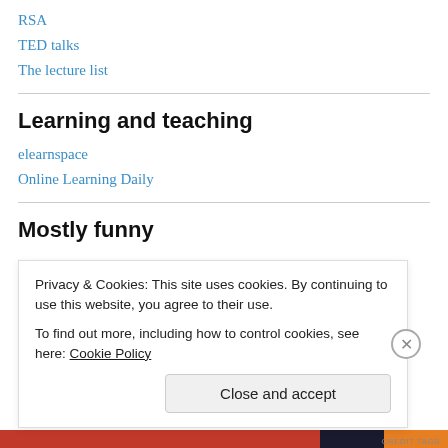RSA
TED talks
The lecture list
Learning and teaching
elearnspace
Online Learning Daily
Mostly funny
Privacy & Cookies: This site uses cookies. By continuing to use this website, you agree to their use. To find out more, including how to control cookies, see here: Cookie Policy